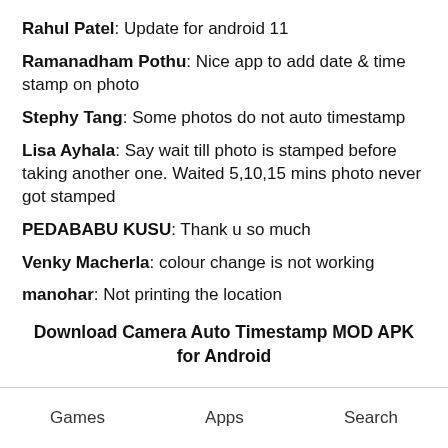Rahul Patel: Update for android 11
Ramanadham Pothu: Nice app to add date & time stamp on photo
Stephy Tang: Some photos do not auto timestamp
Lisa Ayhala: Say wait till photo is stamped before taking another one. Waited 5,10,15 mins photo never got stamped
PEDABABU KUSU: Thank u so much
Venky Macherla: colour change is not working
manohar: Not printing the location
Download Camera Auto Timestamp MOD APK for Android
Games   Apps   Search